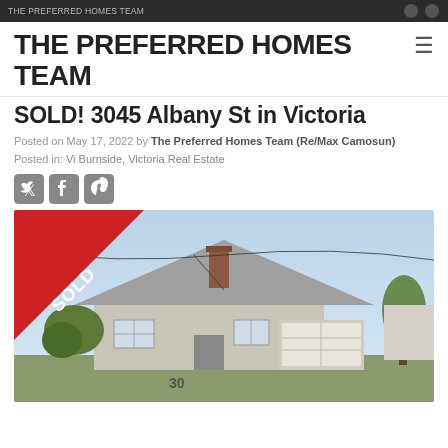THE PREFERRED HOMES TEAM
SOLD! 3045 Albany St in Victoria
Posted on May 17, 2022 by The Preferred Homes Team (Re/Max Camosun)
Posted in: Vi Burnside, Victoria Real Estate
[Figure (photo): Exterior photo of a residential home at 3045 Albany St in Victoria with a red SOLD banner overlay in the top-left corner. The house is a single-storey bungalow with a grey shingled roof, brick chimney, attached garage, and landscaped front yard.]